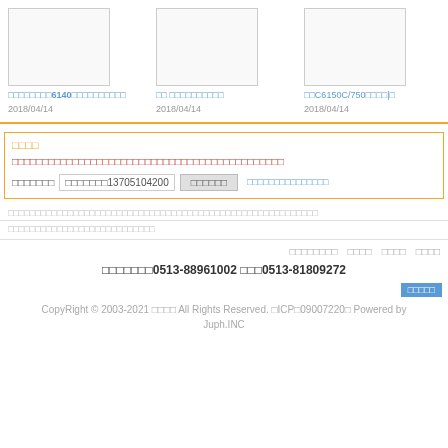[Figure (screenshot): Three product image thumbnails with blue link titles and dates]
□□□□□□□□□6140□□□□□□□□□□
2018/04/14
□□ □□□□□□□□□□
2018/04/14
□□C6150C/750□□□□|□
2018/04/14
□□□□
□□□□□□□□□□□□□□□□□□□□□□□□□□□□□□□□□□□□□□□□□□□□□
□□□□□□□  □□□□□□□13705104200  □□□□□□  □□□□□□□□□□□□□□□
□□□□□□□□□□□□□□□□□□□□□□□□□□□□□□□□□□□□□□□□□□□□□□□□□□□□□□□□□
□□□□□□□□□□□□□□□□□□□□□□□□□□□
□□□□□□□□  □□□□  □□□□  □□□□
□□□□□□□0513-88961002 □□□0513-81809272
□□□□□
CopyRight © 2003-2021 □□□□ All Rights Reserved. □ICP□09007220□ Powered by Juph.INC